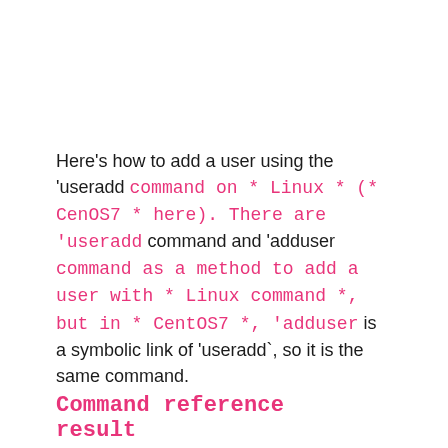Here's how to add a user using the 'useradd command on * Linux * (* CenOS7 * here). There are 'useradd command and 'adduser command as a method to add a user with * Linux command *, but in * CentOS7 *, 'adduser is a symbolic link of 'useradd`, so it is the same command.
Command reference result